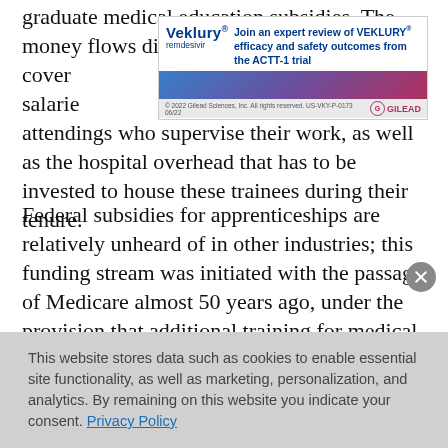graduate medical education subsidies. The money flows directly to hospitals to cover the salaries of the residents themselves, the attendings who supervise their work, as well as the hospital overhead that has to be invested to house these trainees during their tenure.
[Figure (other): Veklury (remdesivir) advertisement banner by Gilead. Text reads: 'Join an expert review of VEKLURY efficacy and safety outcomes from the ACTT-1 trial'. Copyright 2022 Gilead Sciences, Inc. All rights reserved. US-VKY-P-0173 06/22]
Federal subsidies for apprenticeships are relatively unheard of in other industries; this funding stream was initiated with the passage of Medicare almost 50 years ago, under the provision that additional training for medical students would result in better and safer medical care for all Americans. However, what was not set up as a tagline to these federal subsidies was any type of
This website stores data such as cookies to enable essential site functionality, as well as marketing, personalization, and analytics. By remaining on this website you indicate your consent. Privacy Policy